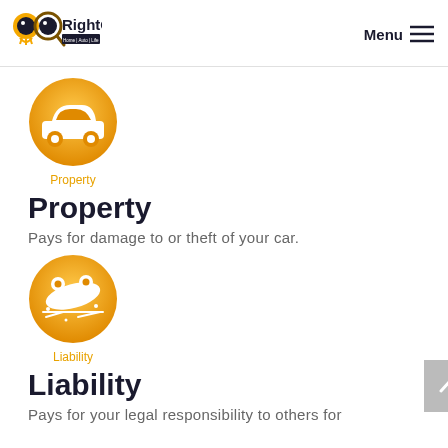RightQuote | Home | Auto | Life | Health | Business | Farm — Menu
[Figure (logo): RightQuote logo with orange owl eyes graphic and text 'RightQuote' with tagline 'Home | Auto | Life | Health | Business | Farm' in black bar]
[Figure (illustration): Orange circle icon with white car silhouette, labeled 'Property']
Property
Pays for damage to or theft of your car.
[Figure (illustration): Orange circle icon with white car crash/accident silhouette, labeled 'Liability']
Liability
Pays for your legal responsibility to others for...